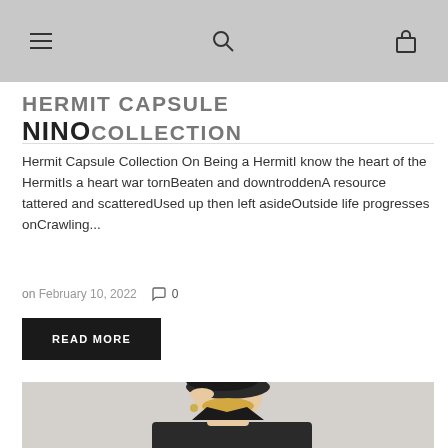Navigation bar with hamburger menu, search icon, and bag icon
HERMIT CAPSULE COLLECTION
Hermit Capsule Collection On Being a HermitI know the heart of the HermitIs a heart war tornBeaten and downtroddenA resource tattered and scatteredUsed up then left asideOutside life progresses onCrawling...
on February 10, 2022   0
READ MORE
[Figure (photo): Fashion photo of a young woman wearing a dark beret hat, touching the brim, with blonde hair and gold earrings, against a light background]